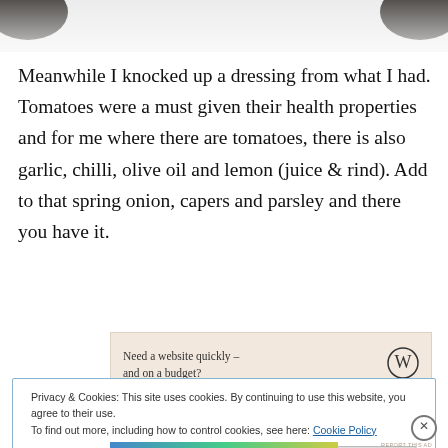[Figure (photo): Top portion of a food photograph, showing dark corners against a light background]
Meanwhile I knocked up a dressing from what I had. Tomatoes were a must given their health properties and for me where there are tomatoes, there is also garlic, chilli, olive oil and lemon (juice & rind). Add to that spring onion, capers and parsley and there you have it.
[Figure (screenshot): Advertisement banner: 'Need a website quickly – and on a budget?' with WordPress logo]
REPORT THIS AD
Privacy & Cookies: This site uses cookies. By continuing to use this website, you agree to their use.
To find out more, including how to control cookies, see here: Cookie Policy
Close and accept